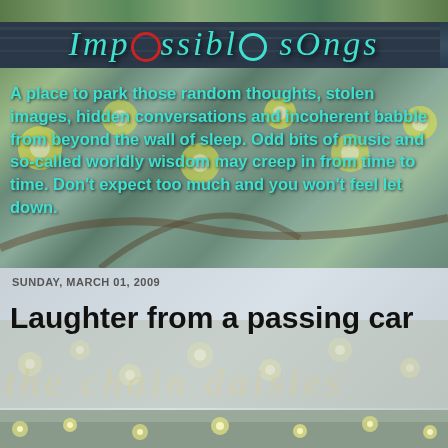[Figure (photo): Blog header banner with daisy flowers and water reflection background, showing blog title 'Impossible Songs' in teal italic script with decorative circular letters]
[Figure (photo): Background photo of daisy flowers with green stems and foliage, overlaid with blog description text in teal/yellow bold font]
A place to park those random thoughts, stolen images, hidden conversations and incoherent babble from beyond the wall of sleep. Odd bits of music and so-called worldly wisdom may creep in from time to time. Don't expect too much and you won't feel let down.
SUNDAY, MARCH 01, 2009
Laughter from a passing car
[Figure (photo): Background showing daisy chain flowers watermark text 'the chain daisies' in yellow script over a light gray floral background]